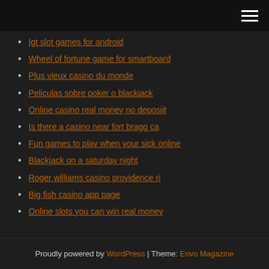Navigation menu header bar
Igt slot games for android
Wheel of fortune game for smartboard
Plus vieux casino du monde
Peliculas sobre poker o blackjack
Online casino real money no deposiit
Is there a casino near fort bragg ca
Fun games to play when your sick online
Blackjack on a saturday night
Roger williams casino providence ri
Big fish casino app page
Online slots you can win real money
Proudly powered by WordPress | Theme: Envo Magazine